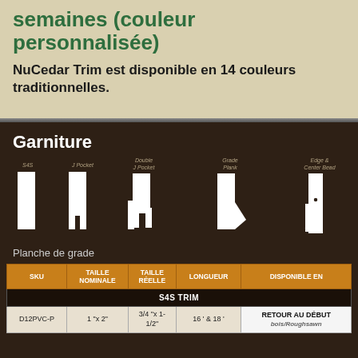semaines (couleur personnalisée)
NuCedar Trim est disponible en 14 couleurs traditionnelles.
Garniture
[Figure (illustration): Five trim profile cross-section illustrations labeled: S4S, J Pocket, Double J Pocket, Grade Plank, Edge & Center Bead]
Planche de grade
| SKU | TAILLE NOMINALE | TAILLE RÉELLE | LONGUEUR | DISPONIBLE EN |
| --- | --- | --- | --- | --- |
| S4S TRIM |  |  |  |  |
| D12PVC-P | 1 "x 2" | 3/4 "x 1-1/2" | 16 ' & 18 ' | RETOUR AU DÉBUT
bois/Roughsawn |